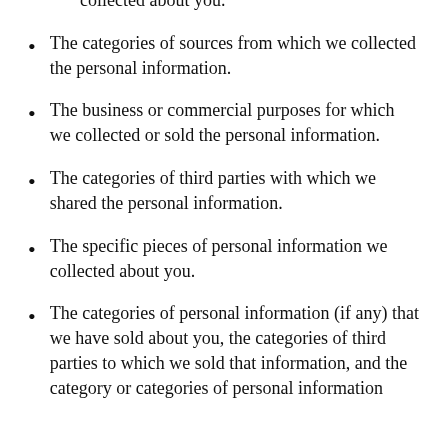The categories of personal information we collected about you.
The categories of sources from which we collected the personal information.
The business or commercial purposes for which we collected or sold the personal information.
The categories of third parties with which we shared the personal information.
The specific pieces of personal information we collected about you.
The categories of personal information (if any) that we have sold about you, the categories of third parties to which we sold that information, and the category or categories of personal information